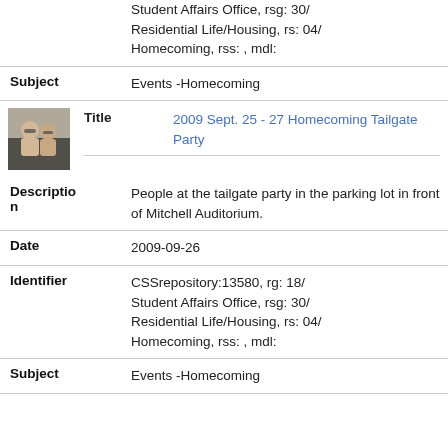|  | Student Affairs Office, rsg: 30/ Residential Life/Housing, rs: 04/ Homecoming, rss: , mdl: |
| Subject | Events -Homecoming |
| Title | 2009 Sept. 25 - 27 Homecoming Tailgate Party |
| Description | People at the tailgate party in the parking lot in front of Mitchell Auditorium. |
| Date | 2009-09-26 |
| Identifier | CSSrepository:13580, rg: 18/ Student Affairs Office, rsg: 30/ Residential Life/Housing, rs: 04/ Homecoming, rss: , mdl: |
| Subject | Events -Homecoming |